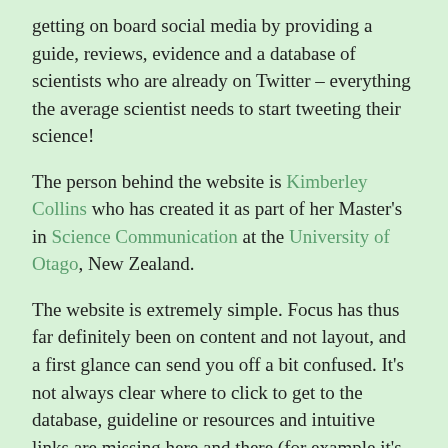getting on board social media by providing a guide, reviews, evidence and a database of scientists who are already on Twitter – everything the average scientist needs to start tweeting their science!
The person behind the website is Kimberley Collins who has created it as part of her Master's in Science Communication at the University of Otago, New Zealand.
The website is extremely simple. Focus has thus far definitely been on content and not layout, and a first glance can send you off a bit confused. It's not always clear where to click to get to the database, guideline or resources and intuitive links are missing here and there (for example it's not possible to link directly to the guide but only to individual chapters of the guide). But when you dig into the resource pages it reveals itself to be quite comprehensive, and super useful.